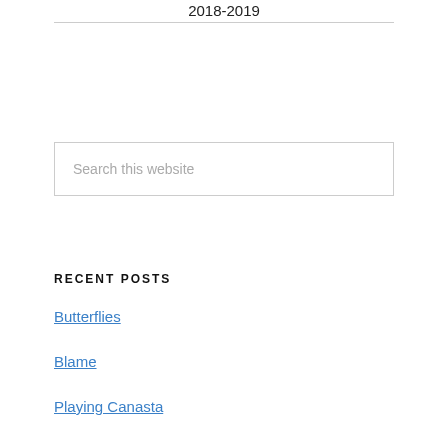2018-2019
Search this website
RECENT POSTS
Butterflies
Blame
Playing Canasta